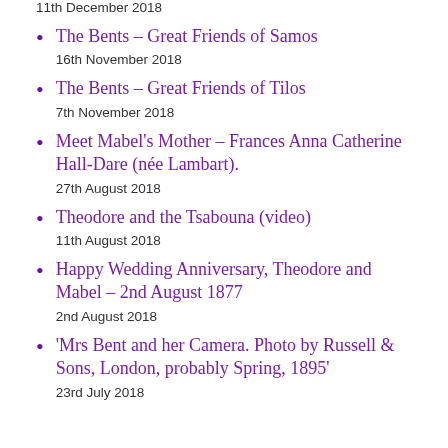11th December 2018
The Bents – Great Friends of Samos
16th November 2018
The Bents – Great Friends of Tilos
7th November 2018
Meet Mabel's Mother – Frances Anna Catherine Hall-Dare (née Lambart).
27th August 2018
Theodore and the Tsabouna (video)
11th August 2018
Happy Wedding Anniversary, Theodore and Mabel – 2nd August 1877
2nd August 2018
'Mrs Bent and her Camera. Photo by Russell & Sons, London, probably Spring, 1895'
23rd July 2018